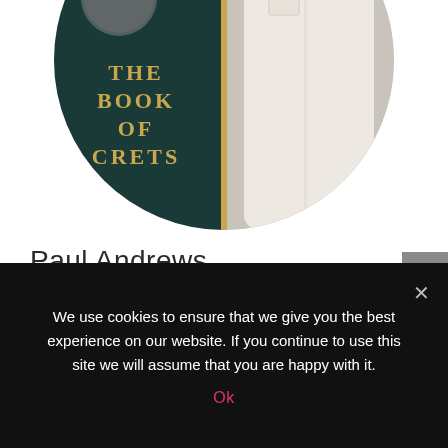[Figure (photo): Circular profile photo of Paul Andrews. Left half shows a book cover (dark teal/black with gold text reading 'THE BOOK OF SECRETS'). Right half shows a man in a white button-down shirt.]
Paul Andrews
Presenter
We use cookies to ensure that we give you the best experience on our website. If you continue to use this site we will assume that you are happy with it.
Ok